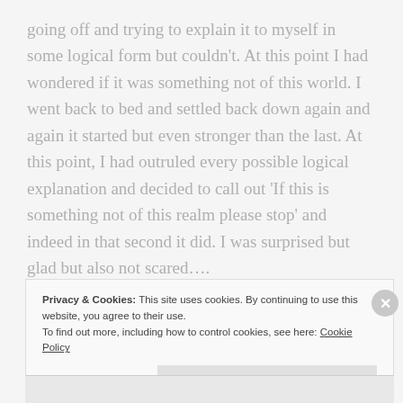going off and trying to explain it to myself in some logical form but couldn't. At this point I had wondered if it was something not of this world. I went back to bed and settled back down again and again it started but even stronger than the last. At this point, I had outruled every possible logical explanation and decided to call out 'If this is something not of this realm please stop' and indeed in that second it did. I was surprised but glad but also not scared….
This occurred on several nights continuously and in the end I felt I needed to tell someone so I told my mum.
Privacy & Cookies: This site uses cookies. By continuing to use this website, you agree to their use. To find out more, including how to control cookies, see here: Cookie Policy